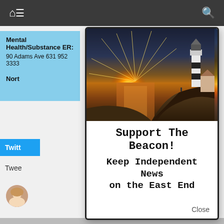[Figure (screenshot): Website screenshot background showing dark navigation bar with home, menu, and search icons, partial light blue card with mental health ER information, partial Twitter button, and tweet section with avatar]
Mental Health/Substance ER:
90 Adams Ave   631 952 3333
Nort
Twitt
Twee
[Figure (illustration): Modal popup with lighthouse at sunset image showing dramatic orange and golden sky with sun rays, rocky coastline, and a black and white lighthouse on the right. Below the image, text reads: Support The Beacon! Keep Independent News on the East End]
Support The Beacon!
Keep Independent News on the East End
Close